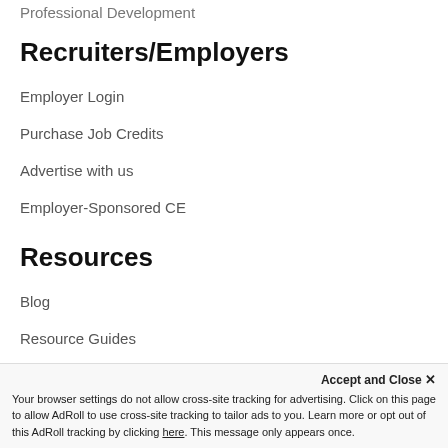Professional Development
Recruiters/Employers
Employer Login
Purchase Job Credits
Advertise with us
Employer-Sponsored CE
Resources
Blog
Resource Guides
Newsletter Sign-Up
Career Days
Support
Accept and Close ✕
Your browser settings do not allow cross-site tracking for advertising. Click on this page to allow AdRoll to use cross-site tracking to tailor ads to you. Learn more or opt out of this AdRoll tracking by clicking here. This message only appears once.